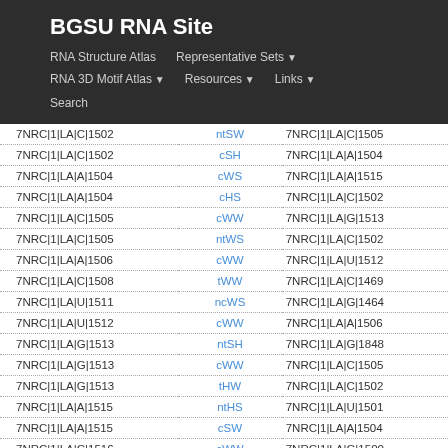BGSU RNA Site
RNA Structure Atlas | Representative Sets ▼ | RNA 3D Motif Atlas ▼ | Resources ▼ | Links ▼ | Search
| Nucleotide 1 | Interaction | Nucleotide 2 |
| --- | --- | --- |
| 7NRC|1|LA|C|1502 | ntSW | 7NRC|1|LA|C|1505 |
| 7NRC|1|LA|C|1502 | cSH | 7NRC|1|LA|A|1504 |
| 7NRC|1|LA|A|1504 | cWS | 7NRC|1|LA|A|1515 |
| 7NRC|1|LA|A|1504 | cHS | 7NRC|1|LA|C|1502 |
| 7NRC|1|LA|C|1505 | cWW | 7NRC|1|LA|G|1513 |
| 7NRC|1|LA|C|1505 | ntWS | 7NRC|1|LA|C|1502 |
| 7NRC|1|LA|A|1506 | cWW | 7NRC|1|LA|U|1512 |
| 7NRC|1|LA|C|1508 | tWW | 7NRC|1|LA|C|1469 |
| 7NRC|1|LA|U|1511 | ncWS | 7NRC|1|LA|G|1464 |
| 7NRC|1|LA|U|1512 | cWW | 7NRC|1|LA|A|1506 |
| 7NRC|1|LA|G|1513 | ntSH | 7NRC|1|LA|G|1848 |
| 7NRC|1|LA|G|1513 | cWW | 7NRC|1|LA|C|1505 |
| 7NRC|1|LA|G|1513 | tHW | 7NRC|1|LA|C|1502 |
| 7NRC|1|LA|A|1515 | ntHS | 7NRC|1|LA|U|1501 |
| 7NRC|1|LA|A|1515 | cSW | 7NRC|1|LA|A|1504 |
| 7NRC|1|LA|C|1516 | cWW | 7NRC|1|LA|G|1500 |